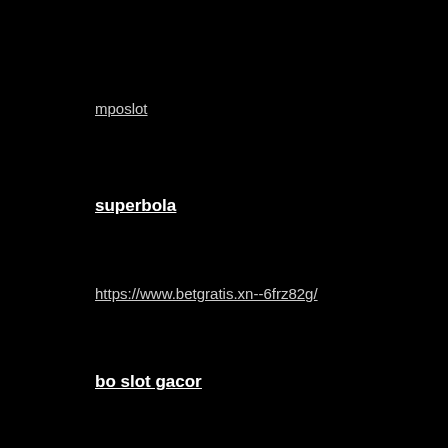mposlot
superbola
https://www.betgratis.xn--6frz82g/
bo slot gacor
สล็อตเว็บตรง
สล็อตออนไลน์